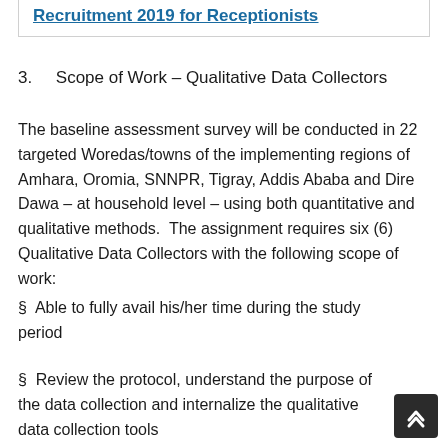Recruitment 2019 for Receptionists
3.    Scope of Work – Qualitative Data Collectors
The baseline assessment survey will be conducted in 22 targeted Woredas/towns of the implementing regions of Amhara, Oromia, SNNPR, Tigray, Addis Ababa and Dire Dawa – at household level – using both quantitative and qualitative methods.  The assignment requires six (6) Qualitative Data Collectors with the following scope of work:
§  Able to fully avail his/her time during the study period
§  Review the protocol, understand the purpose of the data collection and internalize the qualitative data collection tools